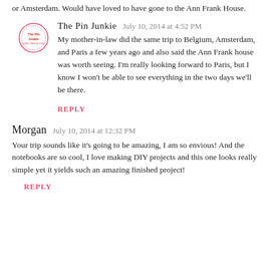or Amsterdam. Would have loved to have gone to the Ann Frank House.
The Pin Junkie  July 10, 2014 at 4:52 PM
My mother-in-law did the same trip to Belgium, Amsterdam, and Paris a few years ago and also said the Ann Frank house was worth seeing. I'm really looking forward to Paris, but I know I won't be able to see everything in the two days we'll be there.
REPLY
Morgan  July 10, 2014 at 12:32 PM
Your trip sounds like it's going to be amazing, I am so envious! And the notebooks are so cool, I love making DIY projects and this one looks really simple yet it yields such an amazing finished project!
REPLY